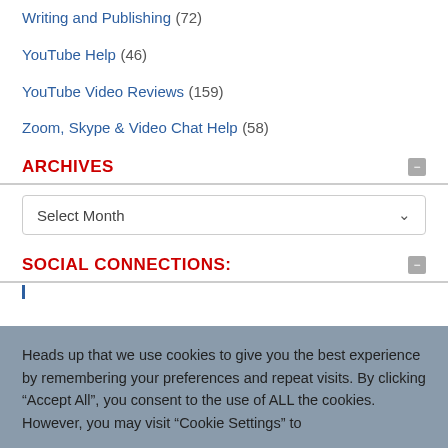Writing and Publishing (72)
YouTube Help (46)
YouTube Video Reviews (159)
Zoom, Skype & Video Chat Help (58)
ARCHIVES
Select Month
SOCIAL CONNECTIONS:
Heads up that we use cookies to give you the best experience by remembering your preferences and repeat visits. By clicking "Accept All", you consent to the use of ALL the cookies. However, you may visit "Cookie Settings" to